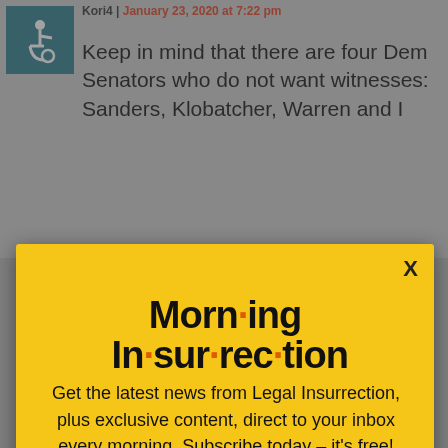Keep in mind that there are four Dem Senators who do not want witnesses: Sanders, Klobatcher, Warren and I
[Figure (screenshot): Morning Insurrection newsletter signup modal popup with yellow background, large bold title 'Morn·ing In·sur·rec·tion' with orange dots, subscription pitch text, and orange JOIN NOW button]
he is ) that he will e to Trump. The
[Figure (screenshot): The Perspective advertisement banner: 'SEE WHAT YOU'RE MISSING' with READ MORE button on yellow background]